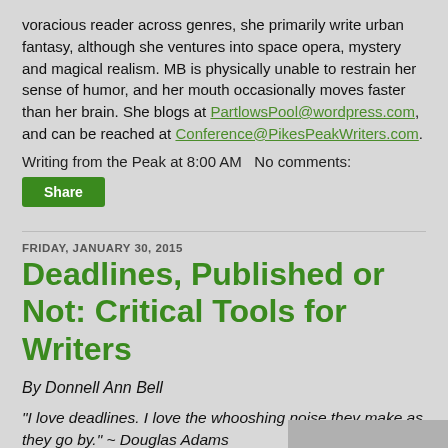voracious reader across genres, she primarily write urban fantasy, although she ventures into space opera, mystery and magical realism. MB is physically unable to restrain her sense of humor, and her mouth occasionally moves faster than her brain. She blogs at PartlowsPool@wordpress.com, and can be reached at Conference@PikesPeakWriters.com.
Writing from the Peak at 8:00 AM    No comments:
Share
FRIDAY, JANUARY 30, 2015
Deadlines, Published or Not: Critical Tools for Writers
By Donnell Ann Bell
“I love deadlines. I love the whooshing noise they make as they go by.”  ~ Douglas Adams